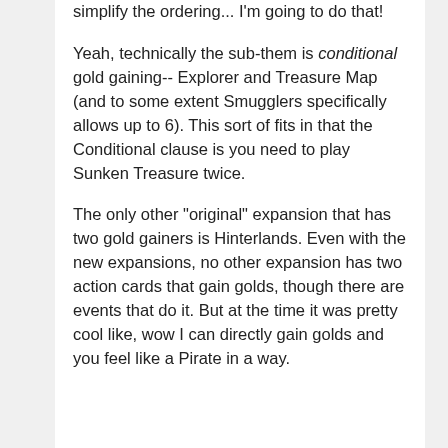simplify the ordering... I'm going to do that!
Yeah, technically the sub-them is conditional gold gaining-- Explorer and Treasure Map (and to some extent Smugglers specifically allows up to 6). This sort of fits in that the Conditional clause is you need to play Sunken Treasure twice.
The only other "original" expansion that has two gold gainers is Hinterlands. Even with the new expansions, no other expansion has two action cards that gain golds, though there are events that do it. But at the time it was pretty cool like, wow I can directly gain golds and you feel like a Pirate in a way.